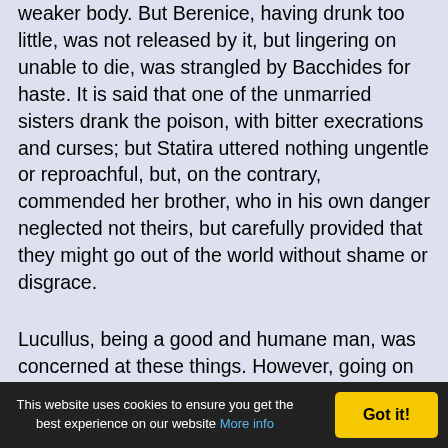weaker body. But Berenice, having drunk too little, was not released by it, but lingering on unable to die, was strangled by Bacchides for haste. It is said that one of the unmarried sisters drank the poison, with bitter execrations and curses; but Statira uttered nothing ungentle or reproachful, but, on the contrary, commended her brother, who in his own danger neglected not theirs, but carefully provided that they might go out of the world without shame or disgrace.
Lucullus, being a good and humane man, was concerned at these things. However, going on he came to Talaura, from whence four days before his arrival Mithridates had fled, and was got to Tigranes in Armenia. He turned off, therefore, and subdued
This website uses cookies to ensure you get the best experience on our website More info